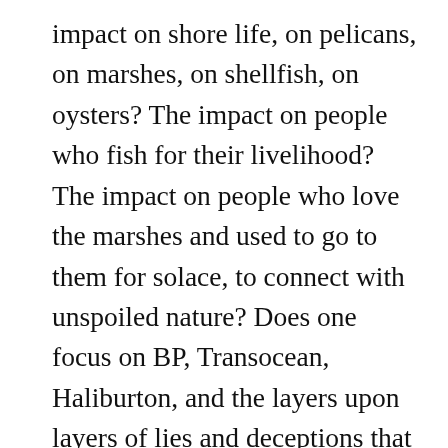impact on shore life, on pelicans, on marshes, on shellfish, on oysters? The impact on people who fish for their livelihood? The impact on people who love the marshes and used to go to them for solace, to connect with unspoiled nature? Does one focus on BP, Transocean, Haliburton, and the layers upon layers of lies and deceptions that continue to this day, but that one realizes are part and parcel of corporate life in the modern world? Does one focus on the political grandstanding and government incompetence and complicity? Does one talk about the way in which mega-corporations now influence every aspect of our lives, for who can resist a corporation that earns a couple billion dollars in profit every